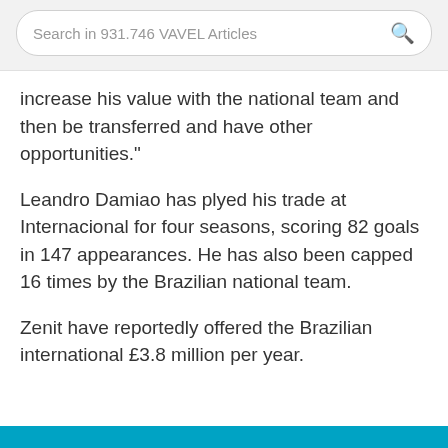Search in 931.746 VAVEL Articles
increase his value with the national team and then be transferred and have other opportunities."
Leandro Damiao has plyed his trade at Internacional for four seasons, scoring 82 goals in 147 appearances. He has also been capped 16 times by the Brazilian national team.
Zenit have reportedly offered the Brazilian international £3.8 million per year.